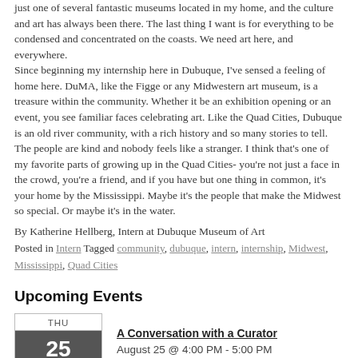just one of several fantastic museums located in my home, and the culture and art has always been there. The last thing I want is for everything to be condensed and concentrated on the coasts. We need art here, and everywhere.
Since beginning my internship here in Dubuque, I've sensed a feeling of home here. DuMA, like the Figge or any Midwestern art museum, is a treasure within the community. Whether it be an exhibition opening or an event, you see familiar faces celebrating art. Like the Quad Cities, Dubuque is an old river community, with a rich history and so many stories to tell. The people are kind and nobody feels like a stranger. I think that's one of my favorite parts of growing up in the Quad Cities- you're not just a face in the crowd, you're a friend, and if you have but one thing in common, it's your home by the Mississippi. Maybe it's the people that make the Midwest so special. Or maybe it's in the water.
By Katherine Hellberg, Intern at Dubuque Museum of Art
Posted in Intern Tagged community, dubuque, intern, internship, Midwest, Mississippi, Quad Cities
Upcoming Events
A Conversation with a Curator
August 25 @ 4:00 PM - 5:00 PM